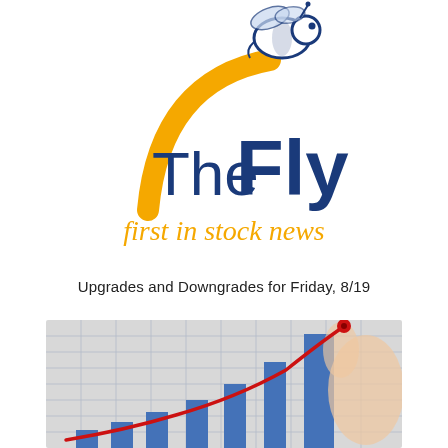[Figure (logo): The Fly logo — a cartoon bee above a golden arc, with 'The Fly' in dark navy bold text and 'first in stock news' in golden italic text below]
Upgrades and Downgrades for Friday, 8/19
[Figure (photo): A stock market bar chart with an ascending red arrow curve pointing upward, held by a hand, on a grid background suggesting financial growth]